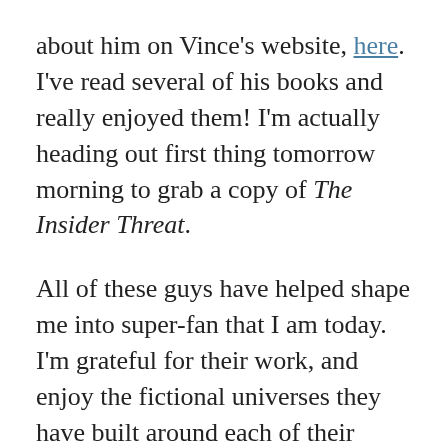about him on Vince's website, here. I've read several of his books and really enjoyed them! I'm actually heading out first thing tomorrow morning to grab a copy of The Insider Threat.
All of these guys have helped shape me into super-fan that I am today. I'm grateful for their work, and enjoy the fictional universes they have built around each of their specific characters!
So Brad, Brad, and Brad — thank you for all the awesome adventures. But even more